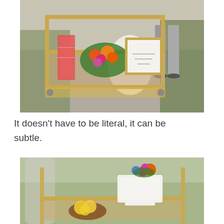[Figure (photo): A gold bar cart with colorful tropical flowers, a red patterned glass candle, and a framed sign, set outdoors on a pathway with a bride and groom visible in the background.]
It doesn't have to be literal, it can be subtle.
[Figure (photo): A gold bar cart outdoors with a white decorative cake topped with bright tropical flowers, and a wooden bowl with citrus fruits on the lower shelf. A person in grey suit is blurred in the background.]